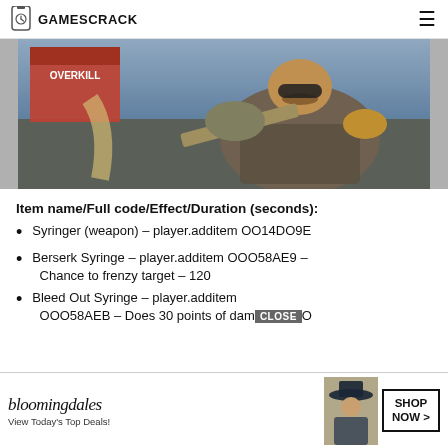GAMESCRACK
[Figure (photo): Screenshot of a video game character in armor holding a weapon, with a box visible in the background]
Item name/Full code/Effect/Duration (seconds):
Syringer (weapon) – player.additem OO14DO9E
Berserk Syringe – player.additem OOO58AE9 – Chance to frenzy target – 120
Bleed Out Syringe – player.additem OOO58AEB – Does 30 points of dam... O
[Figure (screenshot): Bloomingdales advertisement banner: bloomingdales logo, View Today's Top Deals!, SHOP NOW > button, CLOSE button]